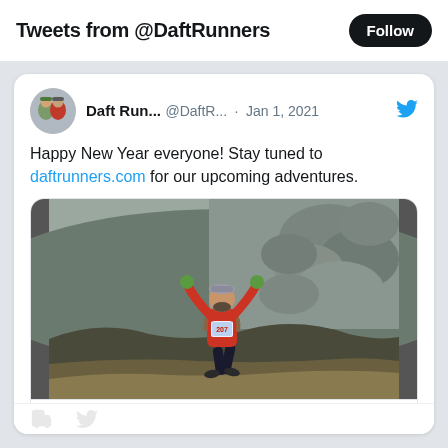Tweets from @DaftRunners
Daft Run... @DaftR... · Jan 1, 2021
Happy New Year everyone! Stay tuned to daftrunners.com for our upcoming adventures.
[Figure (photo): A trail runner wearing bib number 207 and a red vest, arms raised in triumph, running through a moorland landscape with rocks in the background.]
daftrunners.com
Follow Our Adventures...